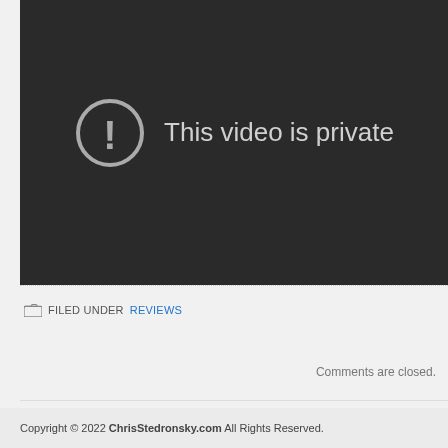[Figure (screenshot): Dark video player area showing 'This video is private' error message with a circle exclamation icon]
FILED UNDER REVIEWS
Comments are closed.
Copyright © 2022 ChrisStedronsky.com All Rights Reserved.